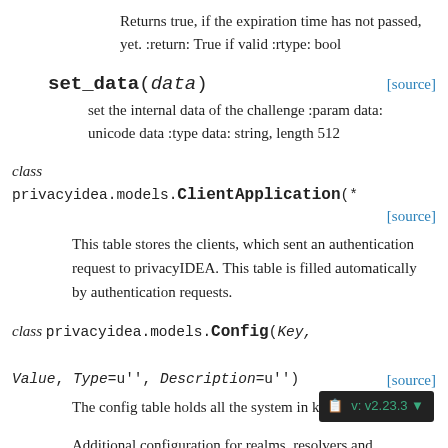Returns true, if the expiration time has not passed, yet. :return: True if valid :rtype: bool
set_data(data) [source]
set the internal data of the challenge :param data: unicode data :type data: string, length 512
class privacyidea.models.ClientApplication(* [source]
This table stores the clients, which sent an authentication request to privacyIDEA. This table is filled automatically by authentication requests.
class privacyidea.models.Config(Key, Value, Type=u'', Description=u'') [source]
The config table holds all the system in key value pairs.
Additional configuration for realms, resolvers and